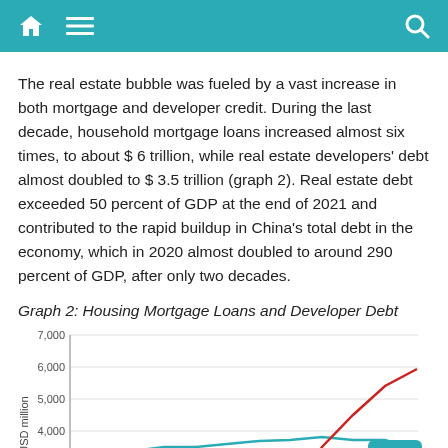Navigation bar with home, menu, and search icons
The real estate bubble was fueled by a vast increase in both mortgage and developer credit. During the last decade, household mortgage loans increased almost six times, to about $ 6 trillion, while real estate developers' debt almost doubled to $ 3.5 trillion (graph 2). Real estate debt exceeded 50 percent of GDP at the end of 2021 and contributed to the rapid buildup in China's total debt in the economy, which in 2020 almost doubled to around 290 percent of GDP, after only two decades.
Graph 2: Housing Mortgage Loans and Developer Debt
[Figure (line-chart): Housing Mortgage Loans and Developer Debt]